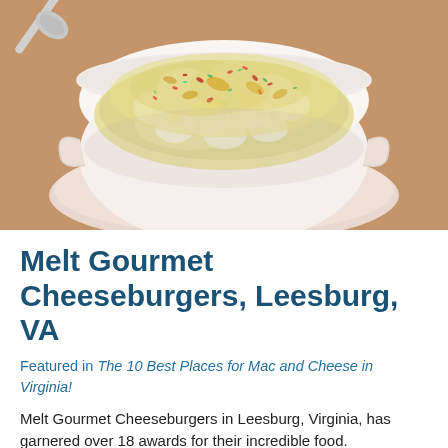[Figure (photo): A white ceramic bowl filled with baked mac and cheese topped with melted cheese, red pepper flakes, and herbs, sitting on a white saucer on a wooden table. A spoon is visible in the background.]
Melt Gourmet Cheeseburgers, Leesburg, VA
Featured in The 10 Best Places for Mac and Cheese in Virginia!
Melt Gourmet Cheeseburgers in Leesburg, Virginia, has garnered over 18 awards for their incredible food.